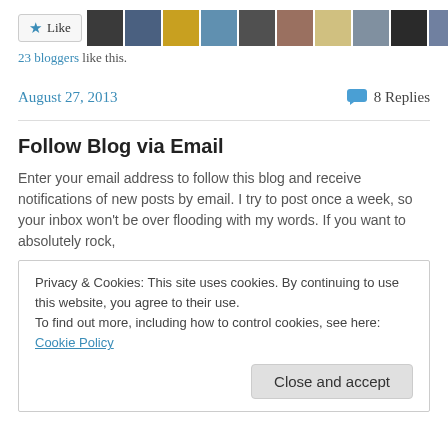[Figure (other): Like button with star icon followed by a row of 11 blogger avatar photos]
23 bloggers like this.
August 27, 2013    💬 8 Replies
Follow Blog via Email
Enter your email address to follow this blog and receive notifications of new posts by email. I try to post once a week, so your inbox won't be over flooding with my words. If you want to absolutely rock,
Privacy & Cookies: This site uses cookies. By continuing to use this website, you agree to their use.
To find out more, including how to control cookies, see here: Cookie Policy
Close and accept